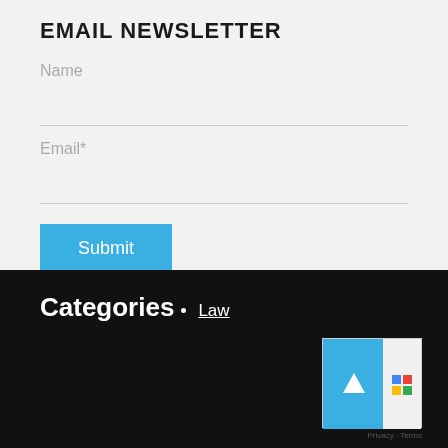EMAIL NEWSLETTER
Name
Email*
Submit
Categories
Law